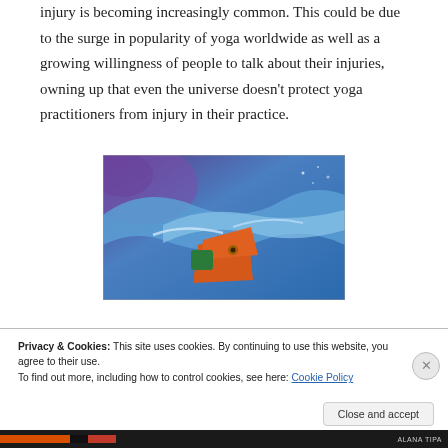injury is becoming increasingly common. This could be due to the surge in popularity of yoga worldwide as well as a growing willingness of people to talk about their injuries, owning up that even the universe doesn't protect yoga practitioners from injury in their practice.
[Figure (photo): A colorful painting/artwork depicting an abstract figure in blue, purple, orange, and green tones, appearing to be a swimmer or floating figure against a blue and purple background.]
Privacy & Cookies: This site uses cookies. By continuing to use this website, you agree to their use.
To find out more, including how to control cookies, see here: Cookie Policy